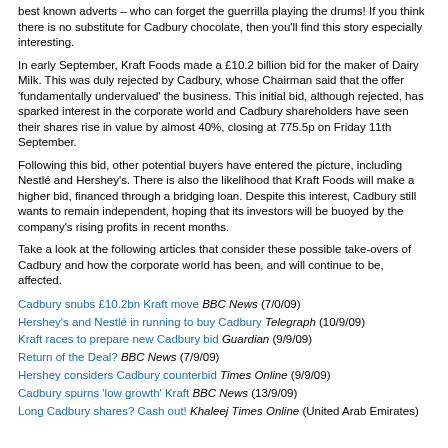best known adverts – who can forget the guerrilla playing the drums! If you think there is no substitute for Cadbury chocolate, then you'll find this story especially interesting.
In early September, Kraft Foods made a £10.2 billion bid for the maker of Dairy Milk. This was duly rejected by Cadbury, whose Chairman said that the offer 'fundamentally undervalued' the business. This initial bid, although rejected, has sparked interest in the corporate world and Cadbury shareholders have seen their shares rise in value by almost 40%, closing at 775.5p on Friday 11th September.
Following this bid, other potential buyers have entered the picture, including Nestlé and Hershey's. There is also the likelihood that Kraft Foods will make a higher bid, financed through a bridging loan. Despite this interest, Cadbury still wants to remain independent, hoping that its investors will be buoyed by the company's rising profits in recent months.
Take a look at the following articles that consider these possible take-overs of Cadbury and how the corporate world has been, and will continue to be, affected.
Cadbury snubs £10.2bn Kraft move BBC News (7/0/09)
Hershey's and Nestlé in running to buy Cadbury Telegraph (10/9/09)
Kraft races to prepare new Cadbury bid Guardian (9/9/09)
Return of the Deal? BBC News (7/9/09)
Hershey considers Cadbury counterbid Times Online (9/9/09)
Cadbury spurns 'low growth' Kraft BBC News (13/9/09)
Long Cadbury shares? Cash out! Khaleej Times Online (United Arab Emirates)